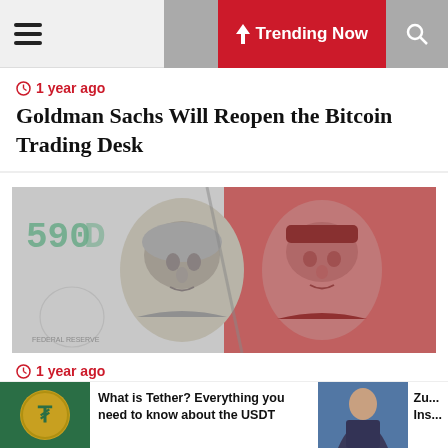Navigation bar with hamburger menu, moon/dark mode button, Trending Now button, and search button
1 year ago
Goldman Sachs Will Reopen the Bitcoin Trading Desk
[Figure (photo): Close-up photo of a US $100 bill (Benjamin Franklin, black and white tones) side by side with a red-toned Chinese yuan banknote (Mao Zedong portrait)]
1 year ago
The US government is concerned about China's national digital currency
[Figure (photo): Tether (USDT) gold coin cryptocurrency logo on dark background]
What is Tether? Everything you need to know about the USDT
[Figure (photo): Mark Zuckerberg speaking at an event with blue background]
Zu... Ins...